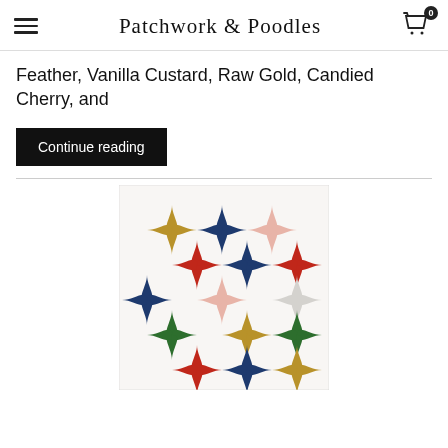Patchwork & Poodles
Feather, Vanilla Custard, Raw Gold, Candied Cherry, and
Continue reading
[Figure (photo): A colorful quilt featuring star/pinwheel shapes in navy blue, red, green, gold/mustard, pink/blush, and white arranged in a grid pattern on a white background.]